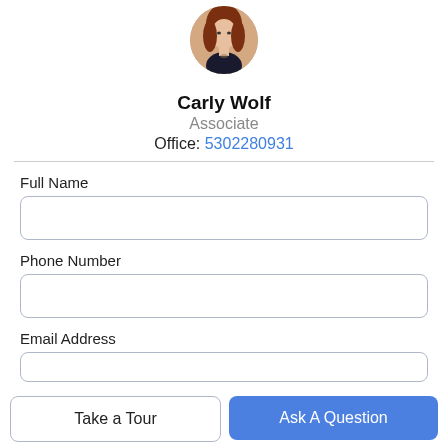[Figure (photo): Headshot photo of Carly Wolf, a woman with reddish-brown hair, wearing dark clothing, circular crop]
Carly Wolf
Associate
Office: 5302280931
Full Name
Phone Number
Email Address
Take a Tour
Ask A Question